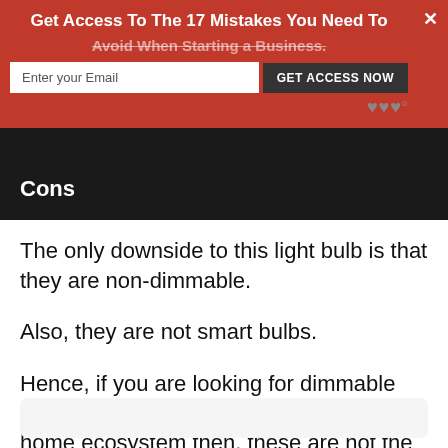Get Access To The 17 Mistakes You Need To Avoid When Starting a Business.
Cons
The only downside to this light bulb is that they are non-dimmable.
Also, they are not smart bulbs.
Hence, if you are looking for dimmable lights or intend to use them in a smart home ecosystem then, these are not the bulbs for you.